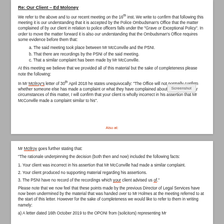Re: Our Client – Ed Moloney
We refer to the above and to our recent meeting on the 16th inst. We write to confirm that following this meeting it is our understanding that it is accepted by the Police Ombudsman's Office that the matter complained of by our client in relation to police officers falls under the "Grave or Exceptional Policy". In order to move the matter forward it is also our understanding that the Ombudsman's Office requires some evidence before them that:
a. The said meeting took place between Mr McConville and the PSNI.
b. That there are recordings by the PSNI of the said meeting.
c. That a similar complaint has been made by Mr McConville.
At this meeting we believe that we provided all of this material but the sake of completeness please note the following:
In Mr McIlroy's letter of 30th April 2018 he states unequivocally: "The Office will not normally confirm whether someone else has made a complaint or what they have complained about. In the particular circumstances of this matter, I will confirm that your client is wholly incorrect in his assertion that Mr McConville made a complaint similar to his".
Also at:
Mr McIlroy goes further stating that:
"The rationale underpinning the decision (both then and now) included the following facts:
1. Your client was incorrect in his assertion that Mr McConville had made a similar complaint.
2. Your client produced no supporting material regarding his assertions.
3. The PSNI have no record of the recordings which your client advised us of."
Please note that we now feel that these points made by the previous Director of Legal Services have now been undermined by the material that was handed over to Mr Holmes at the meeting referred to at the start of this letter. However for the sake of completeness we would like to refer to them in writing namely:
a) A letter dated 16th October 2019 to the OPONI from (solicitors) representing Mr